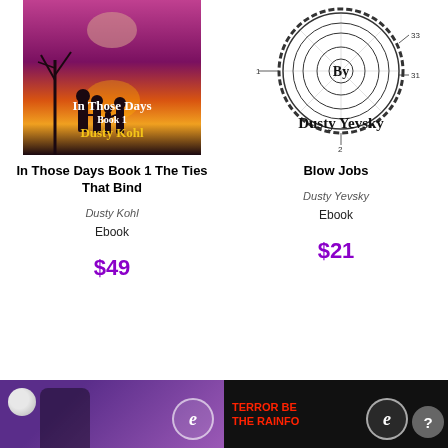[Figure (illustration): Book cover for 'In Those Days Book 1' by Dusty Kohl - silhouette family against purple/orange sunset with bare tree]
[Figure (illustration): Book cover for 'Blow Jobs' by Dusty Yevsky - patent-style engineering diagram of a gear/wheel with labels 1, 2, 31, 33]
In Those Days Book 1 The Ties That Bind
Blow Jobs
Dusty Kohl
Dusty Yevsky
Ebook
Ebook
$49
$21
[Figure (photo): Book cover thumbnail - man at night with moon, purple background with ebook badge]
[Figure (illustration): Book cover thumbnail - Terror text on dark background with ebook badge]